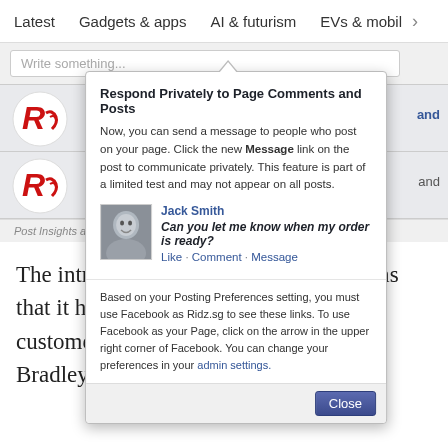Latest  Gadgets & apps  AI & futurism  EVs & mobil >
[Figure (screenshot): Facebook page manager screenshot showing a 'Write something...' input field, two rows with Ridz.sg page logo, a popup modal titled 'Respond Privately to Page Comments and Posts' explaining how to send private messages, with a post preview from Jack Smith asking 'Can you let me know when my order is ready?' with Like, Comment, Message links, and a note about Posting Preferences and admin settings, with a Close button at the bottom. Below the modal is a note: 'Post Insights are not yet available. Please check back later.']
The introduction comes as Google claims that it has raised the stakes for social customer services through Google+, as Bradley Horowitz, who heads